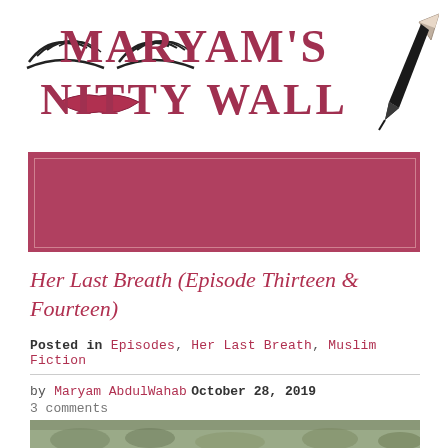MARYAM'S NITTY WALL
[Figure (other): Featured image placeholder - solid dark rose/mauve colored rectangle with double border]
Her Last Breath (Episode Thirteen & Fourteen)
Posted in Episodes, Her Last Breath, Muslim Fiction
by Maryam AbdulWahab October 28, 2019
3 comments
[Figure (photo): Partial photo visible at bottom of page showing green foliage/plants]